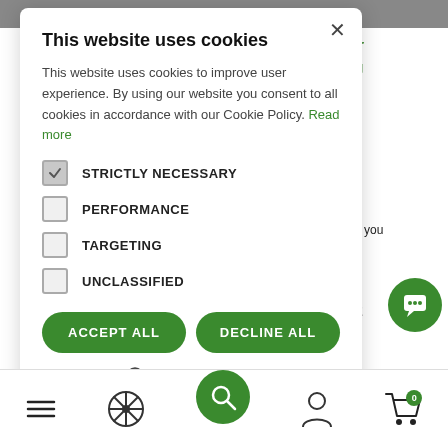This website uses cookies
This website uses cookies to improve user experience. By using our website you consent to all cookies in accordance with our Cookie Policy. Read more
STRICTLY NECESSARY
PERFORMANCE
TARGETING
UNCLASSIFIED
ACCEPT ALL
DECLINE ALL
SHOW DETAILS
a dormer Planning on, cost, e
e ready to r loft into a ving space, you sider which ntilation.
RN MORE
Navigation bar with menu, search, home, profile and cart icons